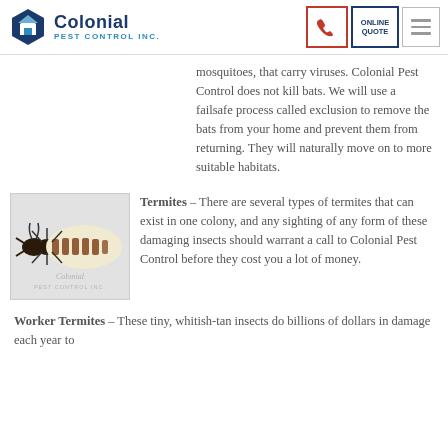Colonial Pest Control Inc.
mosquitoes, that carry viruses. Colonial Pest Control does not kill bats. We will use a failsafe process called exclusion to remove the bats from your home and prevent them from returning. They will naturally move on to more suitable habitats.
[Figure (illustration): Illustration of a termite (worker termite) on a gray background with Colonial Pest Control Inc. watermark]
Termites – There are several types of termites that can exist in one colony, and any sighting of any form of these damaging insects should warrant a call to Colonial Pest Control before they cost you a lot of money.
Worker Termites – These tiny, whitish-tan insects do billions of dollars in damage each year to